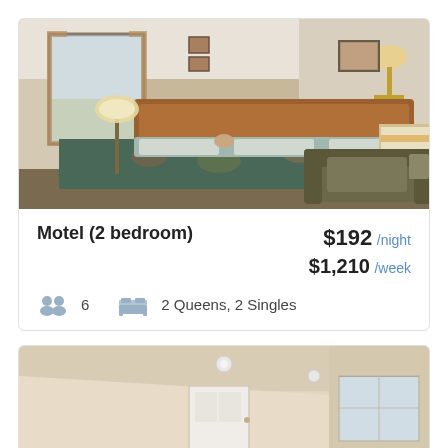[Figure (photo): Interior of a motel room with two queen beds with floral bedspreads, a wooden headboard, a floor lamp, wall art, a wall-mounted lamp, and a dark sofa/couch on the right side. Large window with curtains on the left.]
Motel (2 bedroom)
$192 /night
$1,210 /week
6   2 Queens, 2 Singles
[Figure (photo): Interior room with beige/cream walls and ceiling, a white door, and a window with natural light. Empty room, appears to be a second motel listing photo.]